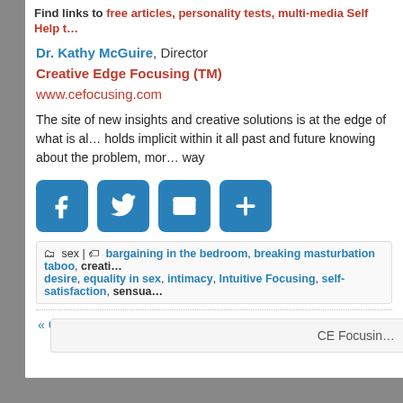Find links to free articles, personality tests, multi-media Self Help t...
Dr. Kathy McGuire, Director
Creative Edge Focusing (TM)
www.cefocusing.com
The site of new insights and creative solutions is at the edge of what is al... holds implicit within it all past and future knowing about the problem, mor... way
[Figure (infographic): Social sharing icons: Facebook (f), Twitter (bird), Email (envelope), Share (+) — all blue rounded square buttons]
sex | bargaining in the bedroom, breaking masturbation taboo, creati... desire, equality in sex, intimacy, Intuitive Focusing, self-satisfaction, sensua...
« Older
CE Focusin...